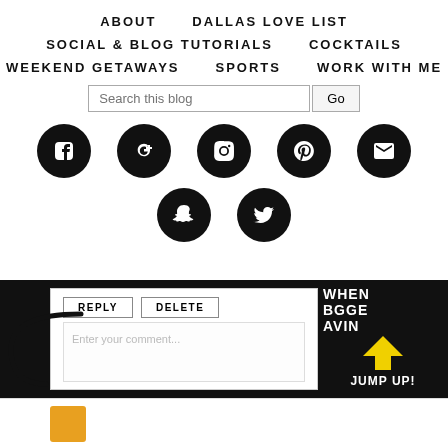ABOUT   DALLAS LOVE LIST
SOCIAL & BLOG TUTORIALS   COCKTAILS
WEEKEND GETAWAYS   SPORTS   WORK WITH ME
[Figure (screenshot): Search bar with 'Search this blog' placeholder text and a 'Go' button]
[Figure (infographic): Row of social media icons: Facebook, Google+, Instagram, Pinterest, Email]
[Figure (infographic): Row of social media icons: Snapchat, Twitter]
[Figure (screenshot): Blog comment section showing REPLY and DELETE buttons, an Enter your comment text area, with a JUMP UP! overlay featuring a yellow upward arrow on black background]